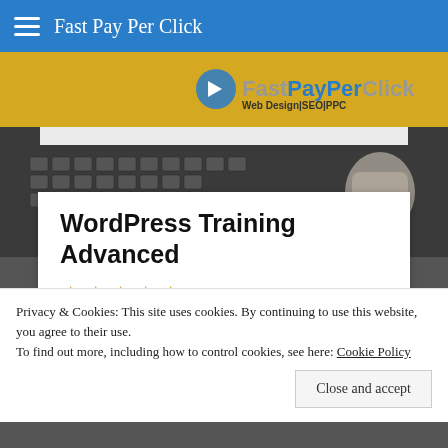Fast Pay Per Click
[Figure (logo): Fast Pay Per Click logo with text 'Web Design|SEO|PPC' on gold background]
[Figure (photo): Dark background photo of laptop keyboard and coffee cup]
WordPress Training Advanced
★★★★★
“I have now learnt how to back up my
Privacy & Cookies: This site uses cookies. By continuing to use this website, you agree to their use.
To find out more, including how to control cookies, see here: Cookie Policy
Close and accept